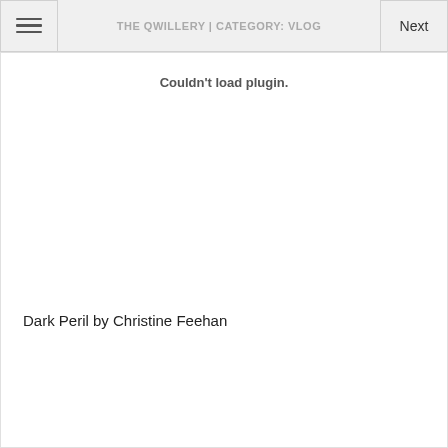THE QWILLERY | CATEGORY: VLOG
Couldn't load plugin.
Dark Peril by Christine Feehan